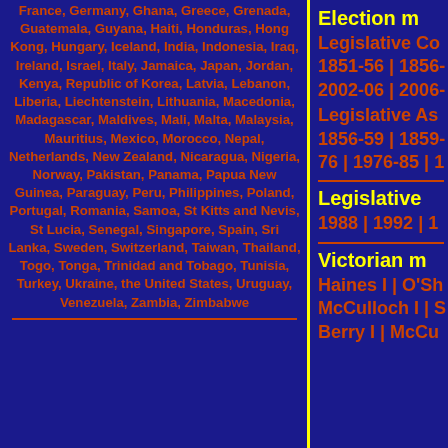France, Germany, Ghana, Greece, Grenada, Guatemala, Guyana, Haiti, Honduras, Hong Kong, Hungary, Iceland, India, Indonesia, Iraq, Ireland, Israel, Italy, Jamaica, Japan, Jordan, Kenya, Republic of Korea, Latvia, Lebanon, Liberia, Liechtenstein, Lithuania, Macedonia, Madagascar, Maldives, Mali, Malta, Malaysia, Mauritius, Mexico, Morocco, Nepal, Netherlands, New Zealand, Nicaragua, Nigeria, Norway, Pakistan, Panama, Papua New Guinea, Paraguay, Peru, Philippines, Poland, Portugal, Romania, Samoa, St Kitts and Nevis, St Lucia, Senegal, Singapore, Spain, Sri Lanka, Sweden, Switzerland, Taiwan, Thailand, Togo, Tonga, Trinidad and Tobago, Tunisia, Turkey, Ukraine, the United States, Uruguay, Venezuela, Zambia, Zimbabwe
Election m
Legislative Co 1851-56 | 1856- 2002-06 | 2006
Legislative As 1856-59 | 1859- 76 | 1976-85 | ...
Legislative
1988 | 1992 | 1...
Victorian m
Haines I | O'Sh McCulloch I | S Berry I | McCu